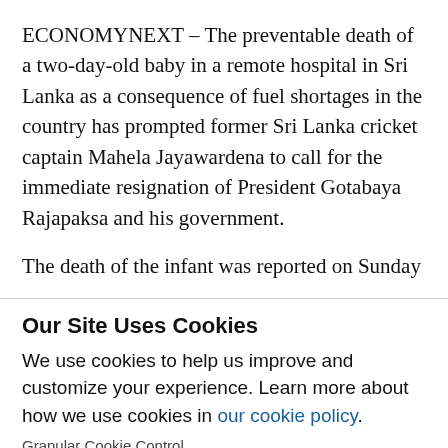ECONOMYNEXT – The preventable death of a two-day-old baby in a remote hospital in Sri Lanka as a consequence of fuel shortages in the country has prompted former Sri Lanka cricket captain Mahela Jayawardena to call for the immediate resignation of President Gotabaya Rajapaksa and his government.

The death of the infant was reported on Sunday
Our Site Uses Cookies
We use cookies to help us improve and customize your experience. Learn more about how we use cookies in our cookie policy.
Granular Cookie Control
Functional   Preferences   Analytics   Marketing   OK